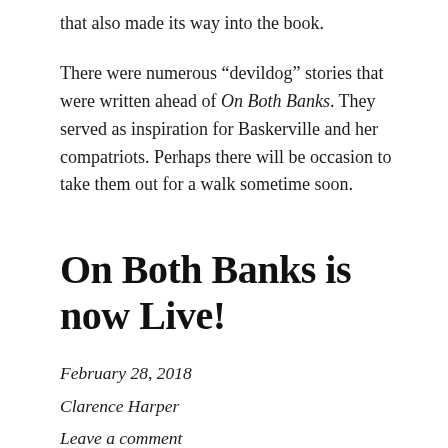that also made its way into the book.
There were numerous “devildog” stories that were written ahead of On Both Banks. They served as inspiration for Baskerville and her compatriots. Perhaps there will be occasion to take them out for a walk sometime soon.
On Both Banks is now Live!
February 28, 2018
Clarence Harper
Leave a comment